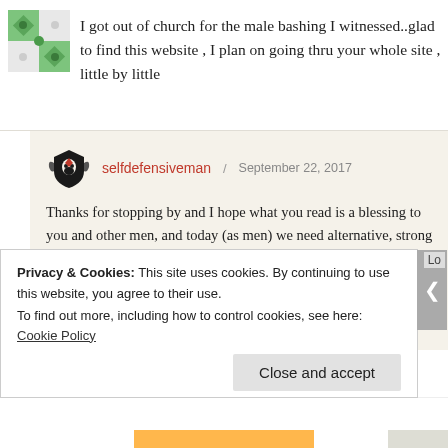I got out of church for the male bashing I witnessed..glad to find this website , I plan on going thru your whole site , little by little
selfdefensiveman / September 22, 2017

Thanks for stopping by and I hope what you read is a blessing to you and other men, and today (as men) we need alternative, strong views of our identities in Christ (our value as men for whom Christ died is children, worth nurturing and fighting to protect. In our fight on our hands to do so – making sure we don't allow the man-hating culture of today's churches and we simply so.
Privacy & Cookies: This site uses cookies. By continuing to use this website, you agree to their use.
To find out more, including how to control cookies, see here: Cookie Policy